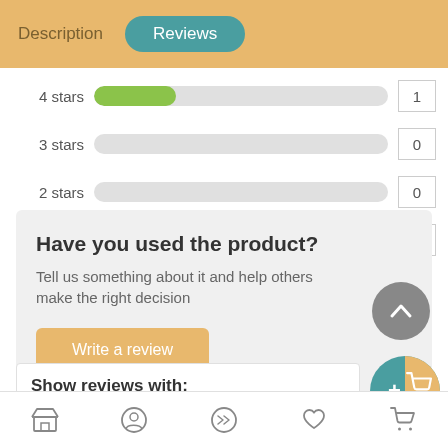Description | Reviews
[Figure (bar-chart): Star ratings bar chart]
Have you used the product?
Tell us something about it and help others make the right decision
Write a review
Show reviews with:
Navigation icons: store, profile, shuffle, heart, cart